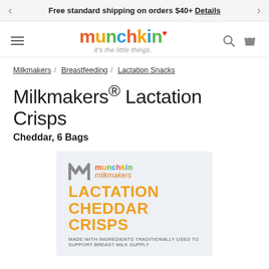Free standard shipping on orders $40+ Details
[Figure (logo): Munchkin logo with tagline 'it's the little things.' in colorful letters, hamburger menu icon, search icon, and cart icon]
Milkmakers / Breastfeeding / Lactation Snacks
Milkmakers® Lactation Crisps
Cheddar, 6 Bags
[Figure (photo): Product box for Munchkin Milkmakers Lactation Cheddar Crisps showing the blue-grey box with orange product name text and Munchkin milkmakers logo, with subtext 'MADE WITH INGREDIENTS TRADITIONALLY USED TO SUPPORT BREAST MILK SUPPLY']